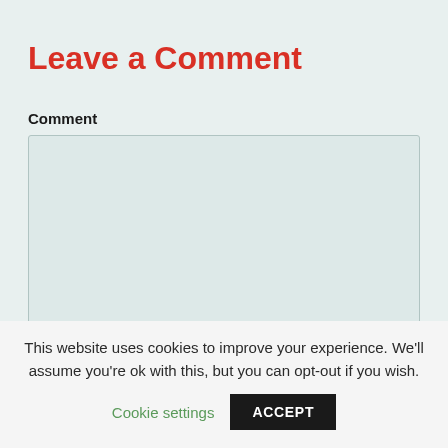Leave a Comment
Comment
[Figure (other): Empty textarea input field with resize handle in bottom-right corner]
Name (required)
This website uses cookies to improve your experience. We'll assume you're ok with this, but you can opt-out if you wish.
Cookie settings  ACCEPT